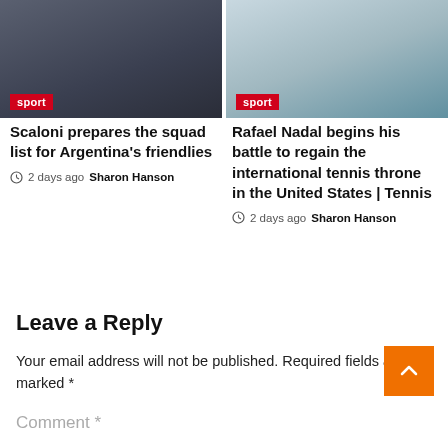[Figure (photo): Dark background photo, likely two people in dark clothing, sport badge overlay]
[Figure (photo): Bright outdoor photo, person in white shirt, sport badge overlay]
Scaloni prepares the squad list for Argentina’s friendlies
2 days ago  Sharon Hanson
Rafael Nadal begins his battle to regain the international tennis throne in the United States | Tennis
2 days ago  Sharon Hanson
Leave a Reply
Your email address will not be published. Required fields are marked *
Comment *